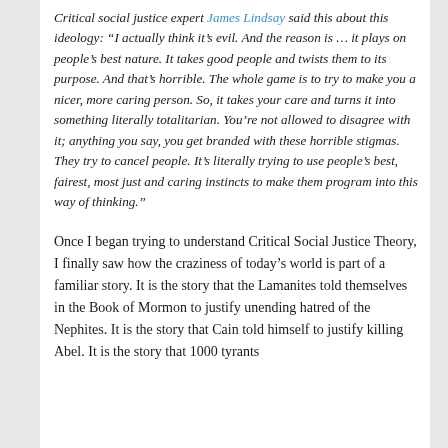Critical social justice expert James Lindsay said this about this ideology: “I actually think it’s evil. And the reason is … it plays on people’s best nature. It takes good people and twists them to its purpose. And that’s horrible. The whole game is to try to make you a nicer, more caring person. So, it takes your care and turns it into something literally totalitarian. You’re not allowed to disagree with it; anything you say, you get branded with these horrible stigmas. They try to cancel people. It’s literally trying to use people’s best, fairest, most just and caring instincts to make them program into this way of thinking.”
Once I began trying to understand Critical Social Justice Theory, I finally saw how the craziness of today’s world is part of a familiar story. It is the story that the Lamanites told themselves in the Book of Mormon to justify unending hatred of the Nephites. It is the story that Cain told himself to justify killing Abel. It is the story that 1000 tyrants